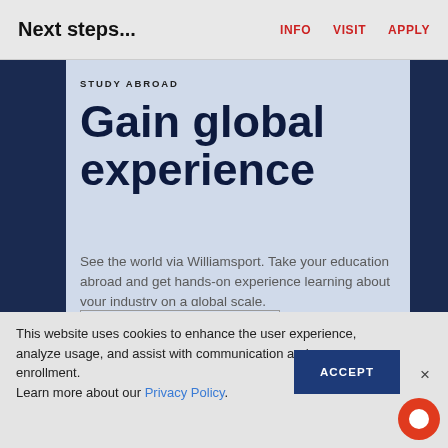Next steps...
INFO   VISIT   APPLY
STUDY ABROAD
Gain global experience
See the world via Williamsport. Take your education abroad and get hands-on experience learning about your industry on a global scale.
LEARN MORE
This website uses cookies to enhance the user experience, analyze usage, and assist with communication and enrollment. Learn more about our Privacy Policy.